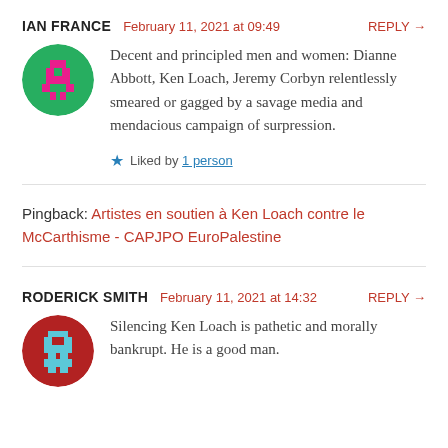IAN FRANCE  February 11, 2021 at 09:49  REPLY →
Decent and principled men and women: Dianne Abbott, Ken Loach, Jeremy Corbyn relentlessly smeared or gagged by a savage media and mendacious campaign of surpression.
★ Liked by 1 person
Pingback: Artistes en soutien à Ken Loach contre le McCarthisme - CAPJPO EuroPalestine
RODERICK SMITH  February 11, 2021 at 14:32  REPLY →
Silencing Ken Loach is pathetic and morally bankrupt. He is a good man.